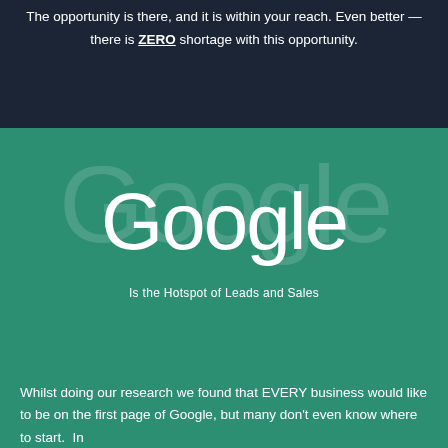The opportunity is there, and it is within your reach. Even better — there is ZERO shortage with this opportunity.
[Figure (logo): Google logo in white text on teal/green background with faded watermark Google text behind it]
Is the Hotspot of Leads and Sales
Whilst doing our research we found that EVERY business would like to be on the first page of Google, but many don't even know where to start.  In